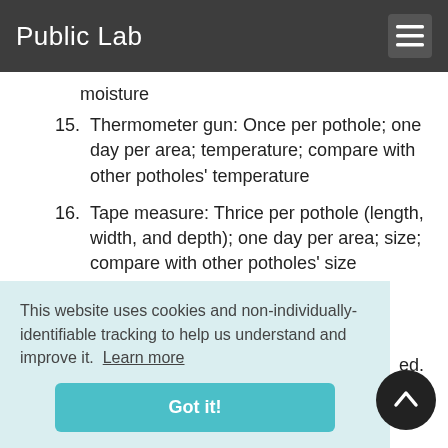Public Lab
moisture
15. Thermometer gun: Once per pothole; one day per area; temperature; compare with other potholes' temperature
16. Tape measure: Thrice per pothole (length, width, and depth); one day per area; size; compare with other potholes' size
We plan for this project to increase local understanding of [text cut off] ed.
This website uses cookies and non-individually-identifiable tracking to help us understand and improve it. Learn more
Got it!